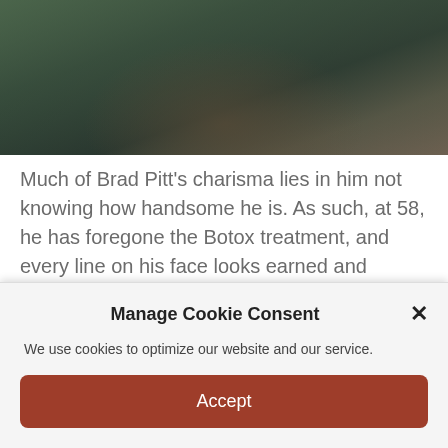[Figure (photo): Partial photo of a person (Brad Pitt) in a dark jacket, visible from shoulders up, in what appears to be a restaurant or food setting]
Much of Brad Pitt's charisma lies in him not knowing how handsome he is. As such, at 58, he has foregone the Botox treatment, and every line on his face looks earned and welcome. He never pretties up to the camera but instead makes you come to him. The secret of his charm is in him letting his inner goofball out like Cary Grant without looking like a klutz.
Manage Cookie Consent
We use cookies to optimize our website and our service.
Accept